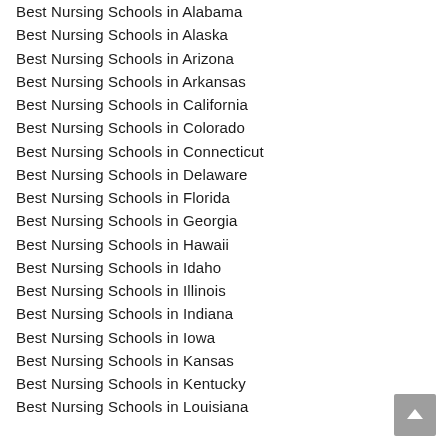Best Nursing Schools in Alabama
Best Nursing Schools in Alaska
Best Nursing Schools in Arizona
Best Nursing Schools in Arkansas
Best Nursing Schools in California
Best Nursing Schools in Colorado
Best Nursing Schools in Connecticut
Best Nursing Schools in Delaware
Best Nursing Schools in Florida
Best Nursing Schools in Georgia
Best Nursing Schools in Hawaii
Best Nursing Schools in Idaho
Best Nursing Schools in Illinois
Best Nursing Schools in Indiana
Best Nursing Schools in Iowa
Best Nursing Schools in Kansas
Best Nursing Schools in Kentucky
Best Nursing Schools in Louisiana